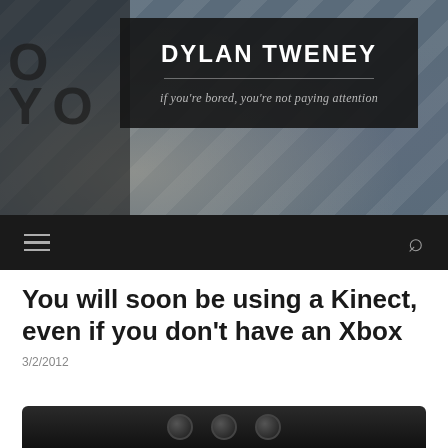[Figure (photo): Blog header photo showing a pavement/road surface with stenciled letters and diagonal shadow lines, with the blog title overlaid in a dark semi-transparent box]
DYLAN TWENEY
if you're bored, you're not paying attention
You will soon be using a Kinect, even if you don't have an Xbox
3/2/2012
[Figure (photo): Bottom portion of a Kinect device, showing its dark curved form]